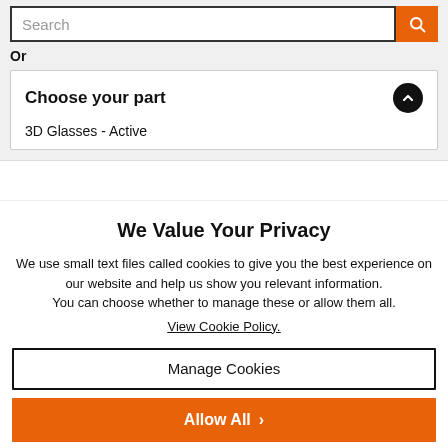Search
Or
Choose your part
3D Glasses - Active
We Value Your Privacy
We use small text files called cookies to give you the best experience on our website and help us show you relevant information. You can choose whether to manage these or allow them all.
View Cookie Policy.
Manage Cookies
Allow All